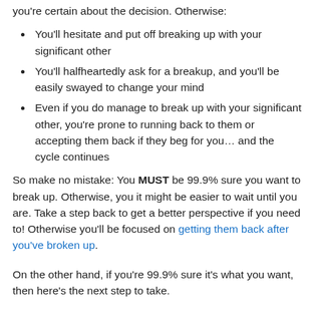you're certain about the decision. Otherwise:
You'll hesitate and put off breaking up with your significant other
You'll halfheartedly ask for a breakup, and you'll be easily swayed to change your mind
Even if you do manage to break up with your significant other, you're prone to running back to them or accepting them back if they beg for you… and the cycle continues
So make no mistake: You MUST be 99.9% sure you want to break up. Otherwise, you it might be easier to wait until you are. Take a step back to get a better perspective if you need to! Otherwise you'll be focused on getting them back after you've broken up.
On the other hand, if you're 99.9% sure it's what you want, then here's the next step to take.